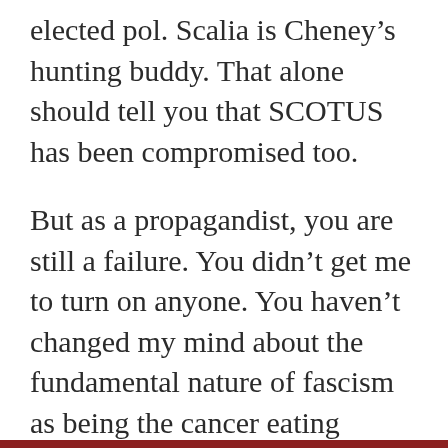elected pol. Scalia is Cheney’s hunting buddy. That alone should tell you that SCOTUS has been compromised too.
But as a propagandist, you are still a failure. You didn’t get me to turn on anyone. You haven’t changed my mind about the fundamental nature of fascism as being the cancer eating America. My enemy today is the same enemy as